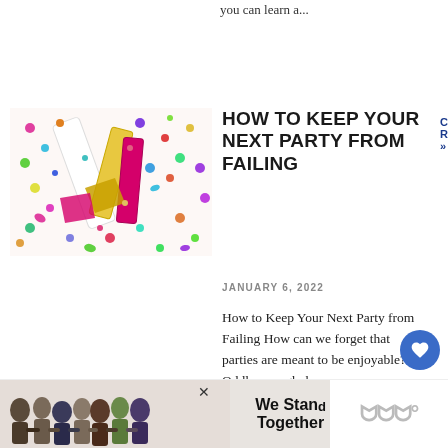you can learn a...
CONTINUE READING »
[Figure (photo): Colorful confetti and party poppers scattered on a white surface]
HOW TO KEEP YOUR NEXT PARTY FROM FAILING
JANUARY 6, 2022
How to Keep Your Next Party from Failing How can we forget that parties are meant to be enjoyable? Oddly enough, however, many parties – th... planned with the best of
[Figure (photo): Advertisement banner: We Stand Together — group of people with arms around each other]